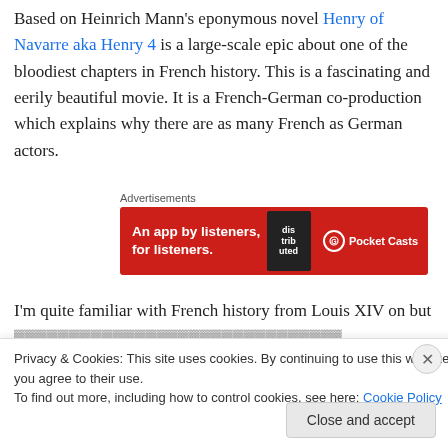Based on Heinrich Mann's eponymous novel Henry of Navarre aka Henry 4 is a large-scale epic about one of the bloodiest chapters in French history. This is a fascinating and eerily beautiful movie. It is a French-German co-production which explains why there are as many French as German actors.
[Figure (other): Pocket Casts advertisement banner: red background with text 'An app by listeners, for listeners.' and book graphic showing 'dis-trib-uted', with Pocket Casts logo on right side]
I'm quite familiar with French history from Louis XIV on but
Privacy & Cookies: This site uses cookies. By continuing to use this website, you agree to their use. To find out more, including how to control cookies, see here: Cookie Policy
Close and accept